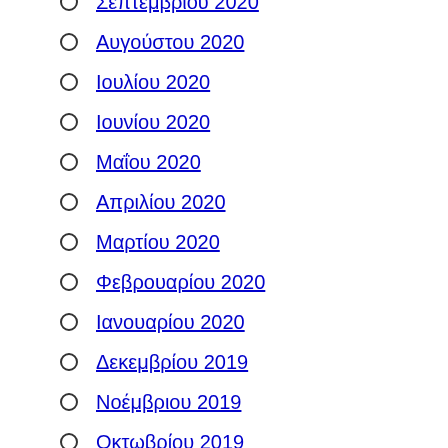Σεπτεμβρίου 2020
Αυγούστου 2020
Ιουλίου 2020
Ιουνίου 2020
Μαΐου 2020
Απριλίου 2020
Μαρτίου 2020
Φεβρουαρίου 2020
Ιανουαρίου 2020
Δεκεμβρίου 2019
Νοέμβριου 2019
Οκτωβρίου 2019
Σεπτεμβρίου 2019
Αυγούστου 2019
Ιουλίου 2019
Ιουνίου 2019
Μαΐου 2019
Απριλίου 2019
Μαρτίου 2019
Φεβρουαρίου 2019
Ιανουαρίου 2019
Δεκεμβρίου 2018
Νοέμβριου 2018
Οκτωβρίου 2018
Σεπτεμβρίου 2018